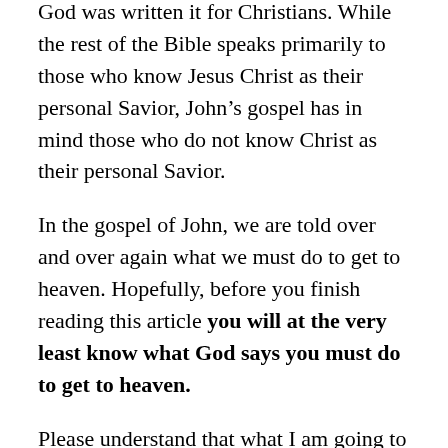God was written it for Christians. While the rest of the Bible speaks primarily to those who know Jesus Christ as their personal Savior, John's gospel has in mind those who do not know Christ as their personal Savior.
In the gospel of John, we are told over and over again what we must do to get to heaven. Hopefully, before you finish reading this article you will at the very least know what God says you must do to get to heaven.
Please understand that what I am going to share with you is from the Bible. The Bible is God's Word. We are told, "All Scripture is given by inspiration of God, and is profitable for doctrine, for reproof, for correction, for